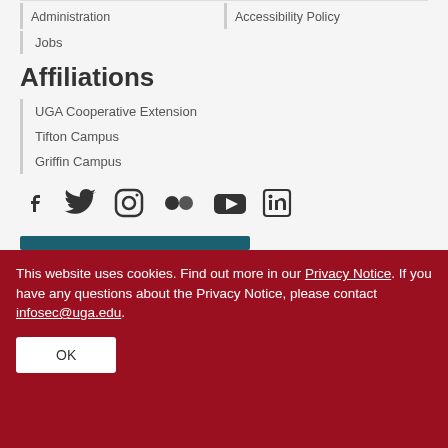Administration
Accessibility Policy
Jobs
Affiliations
UGA Cooperative Extension
Tifton Campus
Griffin Campus
[Figure (infographic): Row of social media icons: Facebook, Twitter, Instagram, Flickr, YouTube, LinkedIn]
This website uses cookies. Find out more in our Privacy Notice. If you have any questions about the Privacy Notice, please contact infosec@uga.edu.
OK